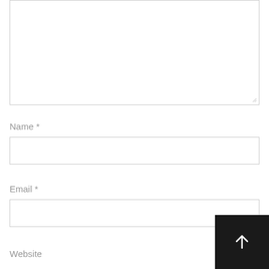[Figure (screenshot): A large empty textarea input box with a resize handle at the bottom-right corner]
Name *
[Figure (screenshot): An empty single-line text input field for Name]
Email *
[Figure (screenshot): An empty single-line text input field for Email]
Website
[Figure (screenshot): An empty single-line text input field for Website (partially visible)]
[Figure (other): A dark/black square button with a white upward arrow icon (scroll-to-top button) positioned at the bottom-right]